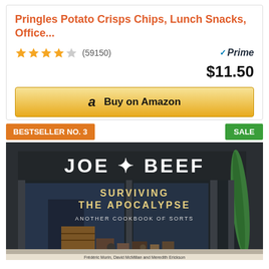Pringles Potato Crisps Chips, Lunch Snacks, Office...
★★★★½ (59150)
$11.50
Buy on Amazon
BESTSELLER NO. 3
SALE
[Figure (photo): Book cover of 'Joe Beef: Surviving the Apocalypse - Another Cookbook of Sorts' showing a storefront with various items including a green canoe, barrels, and other goods. Authors listed at bottom: Frédéric Morin, David McMillan and Meredith Erickson.]